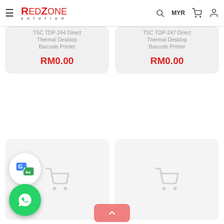RedZone Solution — Navigation bar with hamburger menu, logo, search icon, MYR currency selector, cart icon, user icon
TSC TDP-244 Direct Thermal Desktop Barcode Printer — RM0.00
TSC TDP-247 Direct Thermal Desktop Barcode Printer — RM0.00
[Figure (screenshot): Two placeholder product cards with light shopping cart icons]
[Figure (logo): Google Translate floating button]
[Figure (logo): WhatsApp floating button (green circle)]
[Figure (other): Salmon/pink scroll-to-top button with upward chevron arrow]